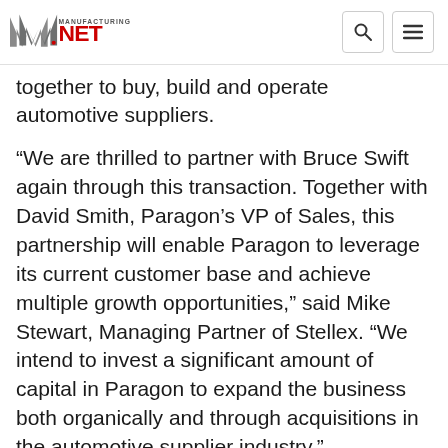Manufacturing.net
together to buy, build and operate automotive suppliers.
“We are thrilled to partner with Bruce Swift again through this transaction. Together with David Smith, Paragon’s VP of Sales, this partnership will enable Paragon to leverage its current customer base and achieve multiple growth opportunities,” said Mike Stewart, Managing Partner of Stellex. “We intend to invest a significant amount of capital in Paragon to expand the business both organically and through acquisitions in the automotive supplier industry.”
“We are tremendously excited about the acquisition of Paragon,” added David Waxman, Managing